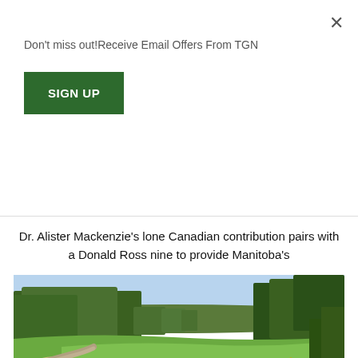Don't miss out!Receive Email Offers From TGN
SIGN UP
Dr. Alister Mackenzie's lone Canadian contribution pairs with a Donald Ross nine to provide Manitoba's
[Figure (photo): Golf course fairway surrounded by trees with a clear blue sky in the background, showing a green fairway, sand bunkers, and a winding path.]